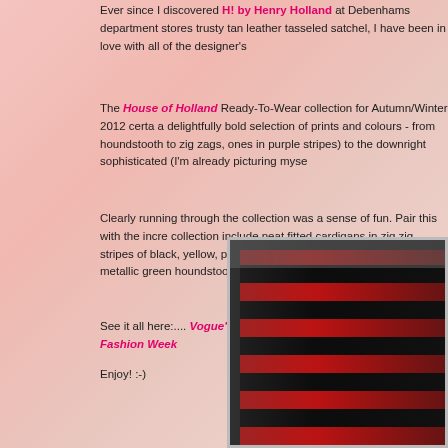Ever since I discovered H! by Henry Holland at Debenhams department stores trusty tan leather tasseled satchel, I have been in love with all of the designer's
The House of Holland Ready-To-Wear collection for Autumn/Winter 2012 certa a delightfully bold selection of prints and colours - from houndstooth to zig zags, ones in purple stripes) to the downright sophisticated (I'm already picturing myse
Clearly running through the collection was a sense of fun. Pair this with the incre collection include neat fitted cardigans in zig zig stripes of black, yellow, pink, bl black all-in-one maxi-trousers metallic green houndstooth extravaganza!
See it all here:.... Vogue's Catwalk Report and here:.... London Fashion Week
Enjoy! :-)
[Figure (photo): Fashion runway photo showing a model wearing a bold red and black striped fur coat, partially cropped on the right side]